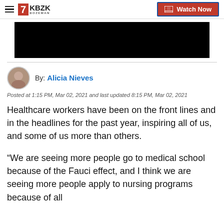7KBZK BOZEMAN | Watch Now
[Figure (photo): Black video thumbnail area]
By: Alicia Nieves
Posted at 1:15 PM, Mar 02, 2021 and last updated 8:15 PM, Mar 02, 2021
Healthcare workers have been on the front lines and in the headlines for the past year, inspiring all of us, and some of us more than others.
“We are seeing more people go to medical school because of the Fauci effect, and I think we are seeing more people apply to nursing programs because of all